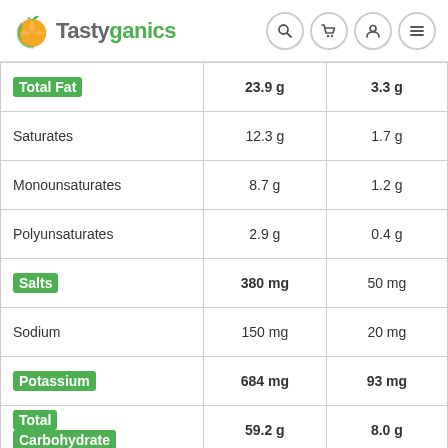Tastyganics
|  | Per 100g | Per serving |
| --- | --- | --- |
| Total Fat | 23.9 g | 3.3 g |
| Saturates | 12.3 g | 1.7 g |
| Monounsaturates | 8.7 g | 1.2 g |
| Polyunsaturates | 2.9 g | 0.4 g |
| Salts | 380 mg | 50 mg |
| Sodium | 150 mg | 20 mg |
| Potassium | 684 mg | 93 mg |
| Total Carbohydrate | 59.2 g | 8.0 g |